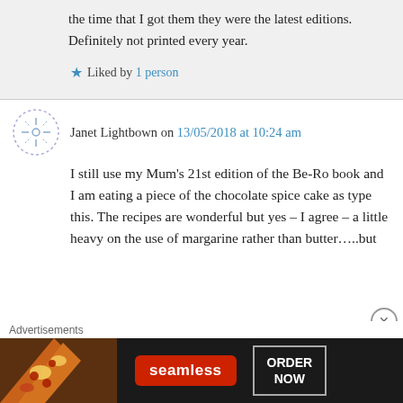the time that I got them they were the latest editions. Definitely not printed every year.
Liked by 1 person
Janet Lightbown on 13/05/2018 at 10:24 am
I still use my Mum’s 21st edition of the Be-Ro book and I am eating a piece of the chocolate spice cake as type this. The recipes are wonderful but yes – I agree – a little heavy on the use of margarine rather than butter…..but
Advertisements
[Figure (screenshot): Seamless food delivery advertisement banner with pizza image, Seamless red logo badge, and ORDER NOW button on dark background]